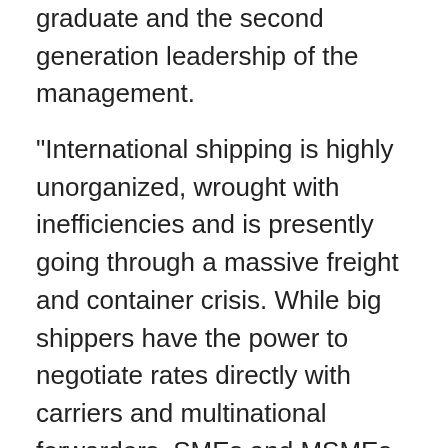graduate and the second generation leadership of the management.
"International shipping is highly unorganized, wrought with inefficiencies and is presently going through a massive freight and container crisis. While big shippers have the power to negotiate rates directly with carriers and multinational forwarders, SMEs and MSMEs get left behind in the chase. With our new platform, we hope to change this and democratize access of every business to freight services."The growth in export share of MSMEs in FY22 would be important to note as the government